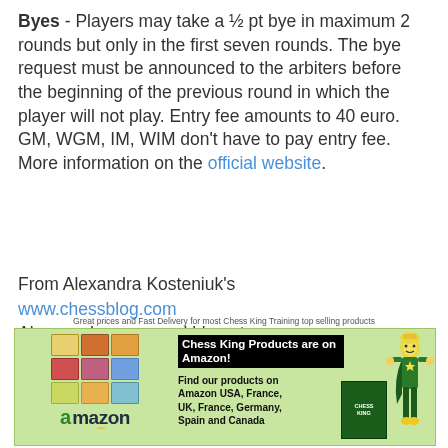Byes - Players may take a ½ pt bye in maximum 2 rounds but only in the first seven rounds. The bye request must be announced to the arbiters before the beginning of the previous round in which the player will not play. Entry fee amounts to 40 euro. GM, WGM, IM, WIM don't have to pay entry fee. More information on the official website.
From Alexandra Kosteniuk's
www.chessblog.com
Also see her personal blog at
www.chessqueen.com
Don't miss Chess Queen™
YouTube Channel
[Figure (infographic): Chess King Amazon advertisement banner with green background, amazon logo, product images, and chess character mascot. Text: Great prices and Fast Delivery for most Chess King Training top selling products. Chess King Products are on Amazon! Find our products on Amazon USA, France, UK, France, Germany, Spain and Canada. Visit our Amazon Chess King Store.]